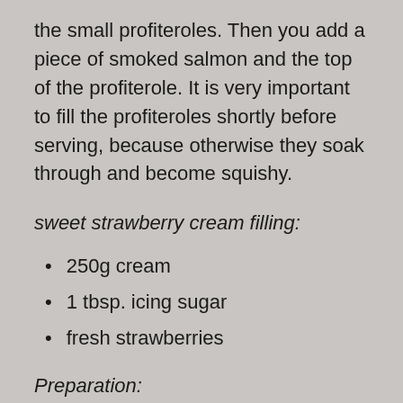the small profiteroles. Then you add a piece of smoked salmon and the top of the profiterole. It is very important to fill the profiteroles shortly before serving, because otherwise they soak through and become squishy.
sweet strawberry cream filling:
250g cream
1 tbsp. icing sugar
fresh strawberries
Preparation:
First you wash and dry the strawberries. Then you remove the leaves and cut the strawberries in small